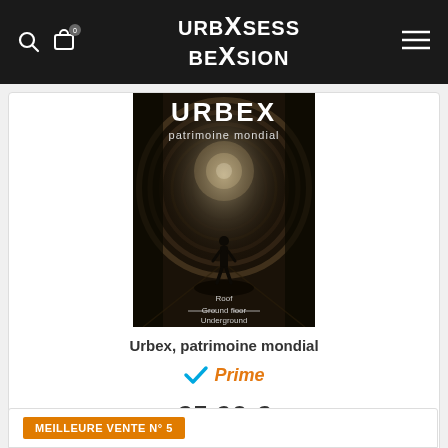URBXSESSION BEXSION (logo) — navigation header
[Figure (photo): Book cover of 'Urbex, patrimoine mondial' showing a silhouette of a person standing in a large industrial tunnel/shaft with circular ribbed walls]
Urbex, patrimoine mondial
[Figure (logo): Amazon Prime badge with checkmark and 'Prime' text in orange italic]
25,90 €
Amazon
MEILLEURE VENTE N° 5